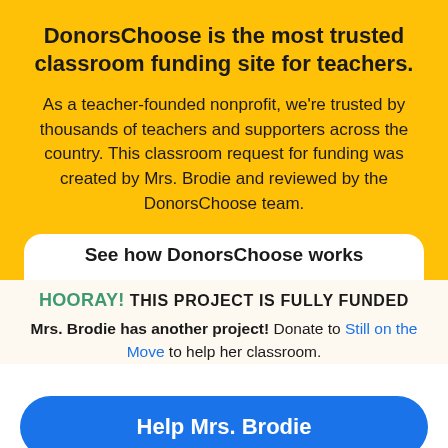DonorsChoose is the most trusted classroom funding site for teachers.
As a teacher-founded nonprofit, we're trusted by thousands of teachers and supporters across the country. This classroom request for funding was created by Mrs. Brodie and reviewed by the DonorsChoose team.
See how DonorsChoose works
HOORAY! THIS PROJECT IS FULLY FUNDED
Mrs. Brodie has another project! Donate to Still on the Move to help her classroom.
Help Mrs. Brodie